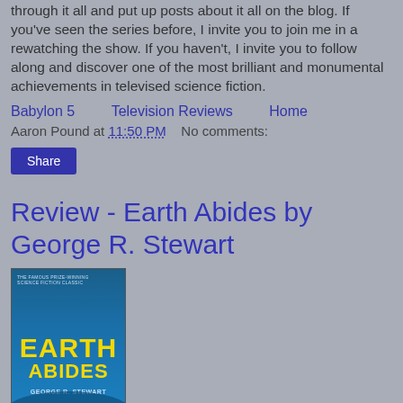through it all and put up posts about it all on the blog. If you've seen the series before, I invite you to join me in a rewatching the show. If you haven't, I invite you to follow along and discover one of the most brilliant and monumental achievements in televised science fiction.
Babylon 5    Television Reviews    Home
Aaron Pound at 11:50 PM    No comments:
Share
Review - Earth Abides by George R. Stewart
[Figure (photo): Book cover of Earth Abides by George R. Stewart - blue cover with yellow title text]